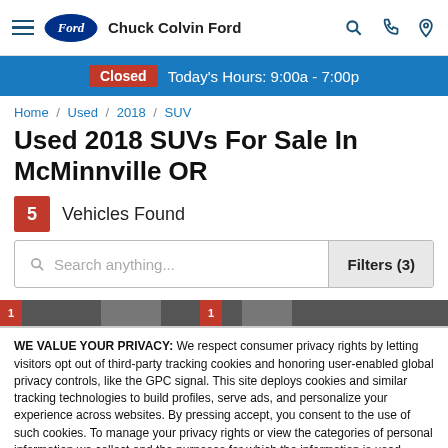Chuck Colvin Ford
Closed  Today's Hours: 9:00a - 7:00p
Home / Used / 2018 / SUV
Used 2018 SUVs For Sale In McMinnville OR
5 Vehicles Found
Search anything...  Filters (3)
WE VALUE YOUR PRIVACY: We respect consumer privacy rights by letting visitors opt out of third-party tracking cookies and honoring user-enabled global privacy controls, like the GPC signal. This site deploys cookies and similar tracking technologies to build profiles, serve ads, and personalize your experience across websites. By pressing accept, you consent to the use of such cookies. To manage your privacy rights or view the categories of personal information we collect and the purposes for which the information is used, click here.
Language: English  Powered by ComplyAuto
Accept and Continue →  Privacy Policy  ×